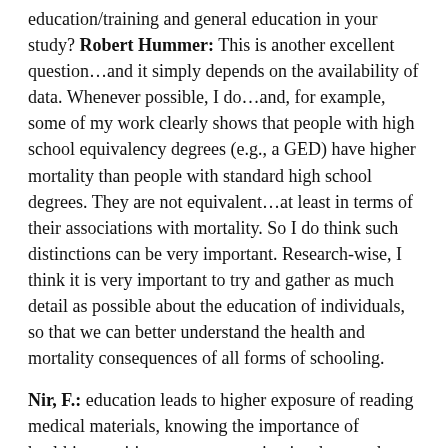education/training and general education in your study? Robert Hummer: This is another excellent question…and it simply depends on the availability of data. Whenever possible, I do…and, for example, some of my work clearly shows that people with high school equivalency degrees (e.g., a GED) have higher mortality than people with standard high school degrees. They are not equivalent…at least in terms of their associations with mortality. So I do think such distinctions can be very important. Research-wise, I think it is very important to try and gather as much detail as possible about the education of individuals, so that we can better understand the health and mortality consequences of all forms of schooling.
Nir, F.: education leads to higher exposure of reading medical materials, knowing the importance of healthier nutrition, etc. my question is what are the explaning variables you use in order to quantify this exposure? and also what variables of education do you use (by years of schooling, diplomas, etc.)?